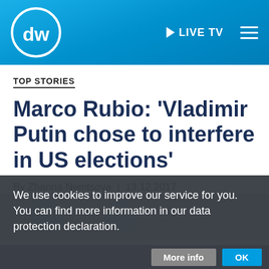DW | LIVE TV
TOP STORIES
Marco Rubio: 'Vladimir Putin chose to interfere in US elections'
By Zhanna Nemtsova | 13.12.2017
We use cookies to improve our service for you. You can find more information in our data protection declaration.
More info   OK